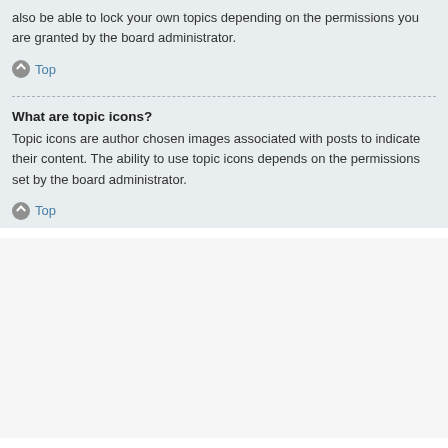also be able to lock your own topics depending on the permissions you are granted by the board administrator.
Top
What are topic icons?
Topic icons are author chosen images associated with posts to indicate their content. The ability to use topic icons depends on the permissions set by the board administrator.
Top